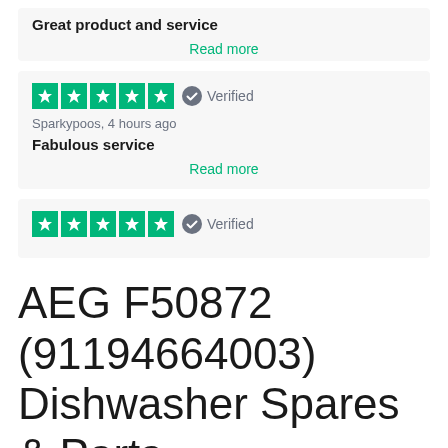Great product and service
Read more
[Figure (other): 5 green star rating boxes with white stars, Verified badge]
Sparkypoos, 4 hours ago
Fabulous service
Read more
[Figure (other): 5 green star rating boxes with white stars, Verified badge]
AEG F50872 (91194664003) Dishwasher Spares & Parts